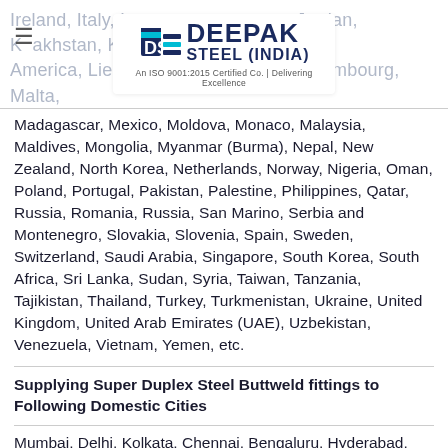Deepak Steel (India) - An ISO 9001:2015 Certified Co. | Delivering Excellence
Ireland, Italy, India, Iran, Israel, Japan, Jordan, Kazakhstan, Kuwait, Latvia, Lithuania, Luxembourg, Malta, Madagascar, Mexico, Moldova, Monaco, Malaysia, Maldives, Mongolia, Myanmar (Burma), Nepal, New Zealand, North Korea, Netherlands, Norway, Nigeria, Oman, Poland, Portugal, Pakistan, Palestine, Philippines, Qatar, Russia, Romania, Russia, San Marino, Serbia and Montenegro, Slovakia, Slovenia, Spain, Sweden, Switzerland, Saudi Arabia, Singapore, South Korea, South Africa, Sri Lanka, Sudan, Syria, Taiwan, Tanzania, Tajikistan, Thailand, Turkey, Turkmenistan, Ukraine, United Kingdom, United Arab Emirates (UAE), Uzbekistan, Venezuela, Vietnam, Yemen, etc.
Supplying Super Duplex Steel Buttweld fittings to Following Domestic Cities
Mumbai, Delhi, Kolkata, Chennai, Bengaluru, Hyderabad, Ahmedabad, Pune, Surat, Jaipur, Kanpur, Lucknow, Nagpur, ...